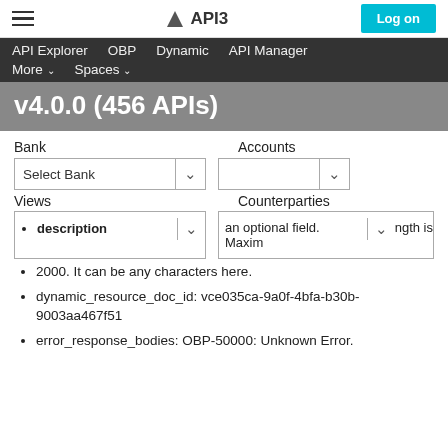▲ API3 | Log on
API Explorer   OBP   Dynamic   API Manager   More ∨   Spaces ∨
v4.0.0 (456 APIs)
Bank   Accounts
Select Bank  [dropdown]  [Accounts dropdown]
Views   Counterparties
description  an optional field. Maximum length is 2000. It can be any characters here.
dynamic_resource_doc_id: vce035ca-9a0f-4bfa-b30b-9003aa467f51
error_response_bodies: OBP-50000: Unknown Error.